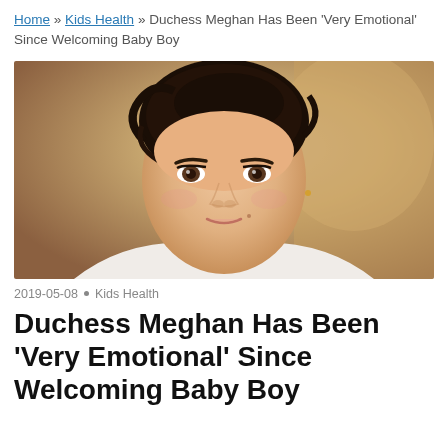Home » Kids Health » Duchess Meghan Has Been 'Very Emotional' Since Welcoming Baby Boy
[Figure (photo): Close-up portrait photograph of Duchess Meghan with dark hair pulled back, wearing a stud earring, with a warm blurred background.]
2019-05-08 • Kids Health
Duchess Meghan Has Been 'Very Emotional' Since Welcoming Baby Boy